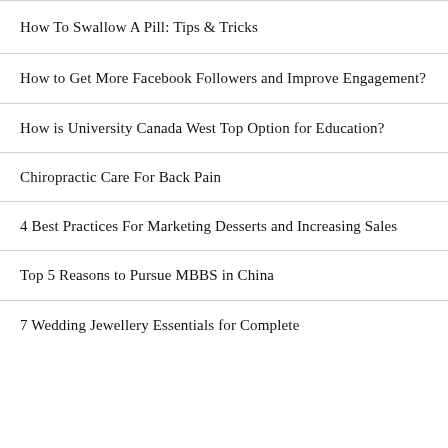How To Swallow A Pill: Tips & Tricks
How to Get More Facebook Followers and Improve Engagement?
How is University Canada West Top Option for Education?
Chiropractic Care For Back Pain
4 Best Practices For Marketing Desserts and Increasing Sales
Top 5 Reasons to Pursue MBBS in China
7 Wedding Jewellery Essentials for Complete